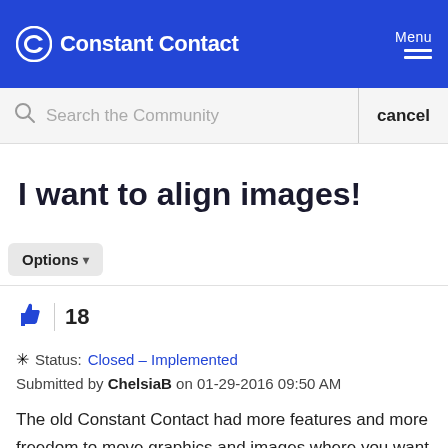Constant Contact | Menu
Search the Community | cancel
I want to align images!
Options
18
Status: Closed – Implemented
Submitted by ChelsiaB on 01-29-2016 09:50 AM
The old Constant Contact had more features and more freedom to move graphics and images where you want them. This new one, I can't even align my image with my paragraph.